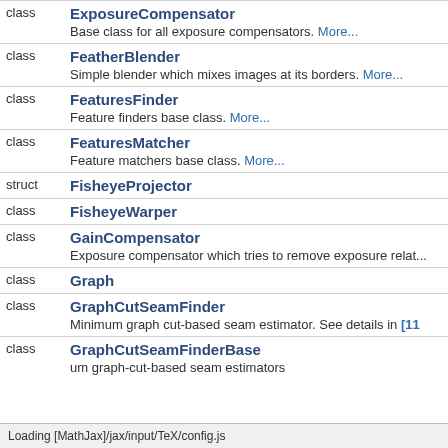| kind | name/description |
| --- | --- |
| class | ExposureCompensator
Base class for all exposure compensators. More... |
| class | FeatherBlender
Simple blender which mixes images at its borders. More... |
| class | FeaturesFinder
Feature finders base class. More... |
| class | FeaturesMatcher
Feature matchers base class. More... |
| struct | FisheyeProjector |
| class | FisheyeWarper |
| class | GainCompensator
Exposure compensator which tries to remove exposure relat... |
| class | Graph |
| class | GraphCutSeamFinder
Minimum graph cut-based seam estimator. See details in [11... |
| class | GraphCutSeamFinderBase
um graph-cut-based seam estimators |
Loading [MathJax]/jax/input/TeX/config.js